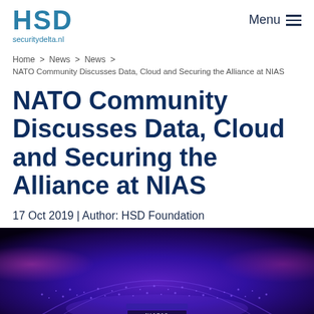HSD securitydelta.nl | Menu
Home > News > News > NATO Community Discusses Data, Cloud and Securing the Alliance at NIAS
NATO Community Discusses Data, Cloud and Securing the Alliance at NIAS
17 Oct 2019 | Author: HSD Foundation
[Figure (photo): Event hall photo from NIAS19 conference showing a large auditorium with purple and blue lighting and an arched ceiling with audience seating]